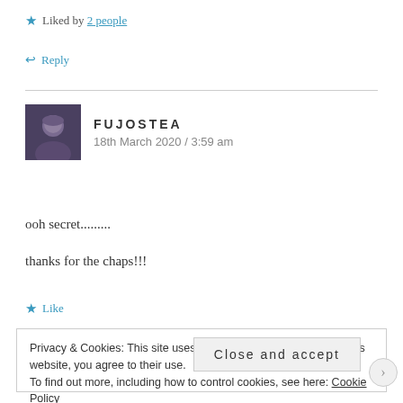★ Liked by 2 people
↩ Reply
FUJOSTEA
18th March 2020 / 3:59 am
ooh secret.........
thanks for the chaps!!!
★ Like
Privacy & Cookies: This site uses cookies. By continuing to use this website, you agree to their use.
To find out more, including how to control cookies, see here: Cookie Policy
Close and accept